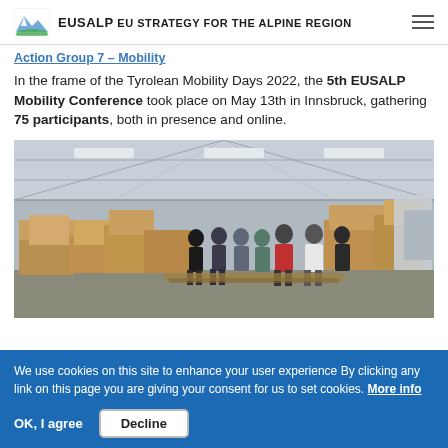EUSALP EU STRATEGY FOR THE ALPINE REGION
Action Group 7 – Mobility
In the frame of the Tyrolean Mobility Days 2022, the 5th EUSALP Mobility Conference took place on May 13th in Innsbruck, gathering 75 participants, both in presence and online.
[Figure (photo): Group of people standing in a large warehouse/logistics hall surrounded by stacked cardboard boxes and pallets, with a high corrugated metal ceiling.]
We use cookies on this site to enhance your user experience By clicking any link on this page you are giving your consent for us to set cookies. More info
OK, I agree   Decline